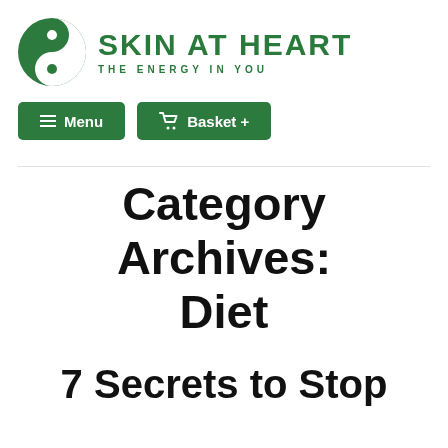[Figure (logo): Skin At Heart logo with yin-yang style green and white circle icon and text 'SKIN AT HEART - THE ENERGY IN YOU']
Menu  Basket +
Category Archives: Diet
7 Secrets to Stop...